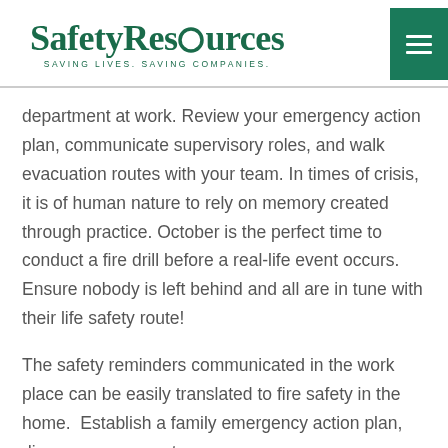SafetyResources — SAVING LIVES. SAVING COMPANIES.
department at work. Review your emergency action plan, communicate supervisory roles, and walk evacuation routes with your team. In times of crisis, it is of human nature to rely on memory created through practice. October is the perfect time to conduct a fire drill before a real-life event occurs. Ensure nobody is left behind and all are in tune with their life safety route!
The safety reminders communicated in the work place can be easily translated to fire safety in the home.  Establish a family emergency action plan, discuss escape routes